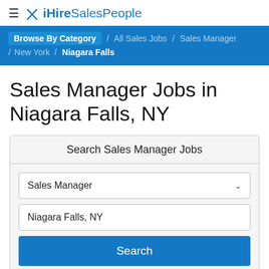≡ ✗ iHireSalesPeople
Browse By Category / All Sales Jobs / Sales Manager / New York / Niagara Falls
Sales Manager Jobs in Niagara Falls, NY
Search Sales Manager Jobs
Sales Manager [dropdown]
Niagara Falls, NY [text input]
Search [button]